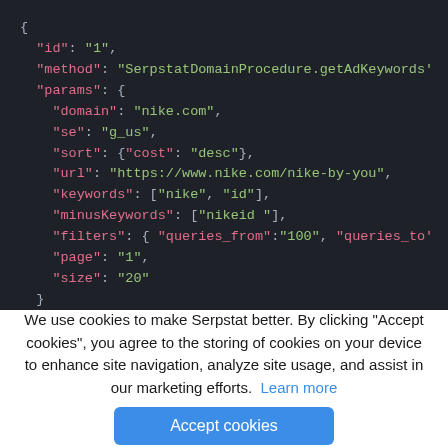[Figure (screenshot): Dark-themed code editor screenshot showing a JSON object with fields: id, method (SerpstatDomainProcedure.getAdKeywords), params containing domain (nike.com), se (g_us), sort ({cost: desc}), url (https://www.nike.com/nike-by-you), keywords ([nike, id]), minusKeywords ([nikeid ]), filters ({ queries_from:100, queries_to...}), page (1), size (20).]
We use cookies to make Serpstat better. By clicking "Accept cookies", you agree to the storing of cookies on your device to enhance site navigation, analyze site usage, and assist in our marketing efforts.  Learn more